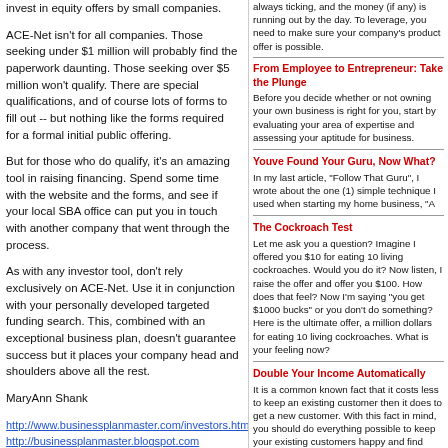invest in equity offers by small companies.
ACE-Net isn't for all companies. Those seeking under $1 million will probably find the paperwork daunting. Those seeking over $5 million won't qualify. There are special qualifications, and of course lots of forms to fill out -- but nothing like the forms required for a formal initial public offering.
But for those who do qualify, it's an amazing tool in raising financing. Spend some time with the website and the forms, and see if your local SBA office can put you in touch with another company that went through the process.
As with any investor tool, don't rely exclusively on ACE-Net. Use it in conjunction with your personally developed targeted funding search. This, combined with an exceptional business plan, doesn't guarantee success but it places your company head and shoulders above all the rest.
MaryAnn Shank
http://www.businessplanmaster.com/investors.html; http://businessplanmaster.blogspot.com
Ms. Shank is a seasoned business financing specialist.
always ticking, and the money (if any) is running out by the day. To leverage, you need to make sure your company's product offer is possible.
From Employee to Entrepreneur: Take the Plunge
Before you decide whether or not owning your own business is right for you, start by evaluating your area of expertise and assessing your aptitude for business.
Youve Found Your Guru, Now What?
In my last article, "Follow That Guru", I wrote about the one (1) simple technique I used when starting my home business, "A
The Cockroach Test
Let me ask you a question? Imagine I offered you $10 for eating 10 living cockroaches. Would you do it? Now listen, I raise the offer and offer you $100. How does that feel? Now I'm saying "you get $1000 bucks" or you don't do something? Here is the ultimate offer, a million dollars for eating 10 living cockroaches. What is your feeling now?
Double Your Income Automatically
It is a common known fact that it costs less to keep an existing customer then it does to get a new customer. With this fact in mind, you should do everything possible to keep your existing customers happy and find complementary products to offer your existing c
Definition of Entrepreneur
Entrepreneur